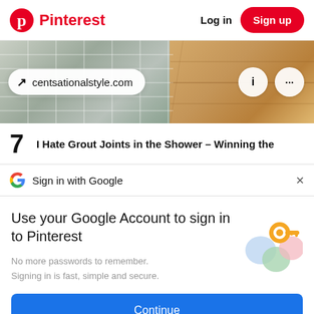[Figure (screenshot): Pinterest website header with logo, Log in button, and Sign up button]
[Figure (photo): Bathroom tile and wood flooring image with URL pill showing centsationalstyle.com and action buttons]
7   I Hate Grout Joints in the Shower – Winning the
Sign in with Google
Use your Google Account to sign in to Pinterest
No more passwords to remember. Signing in is fast, simple and secure.
[Figure (illustration): Google key illustration with colorful circles and a gold key]
Continue